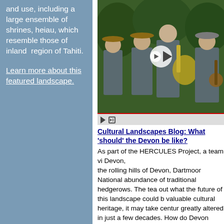European contact and use, including a large ensemble of shrines, heiau, which resemble those of inland region of Tahiti.
Learn more about this featured landscape.
[Figure (photo): Video thumbnail showing park rangers/musicians with instruments (banjo, tuba) in a forested outdoor setting, with a play button overlay and video controls at bottom.]
Cultural Landscapes Blog: What 'should' the Devon be like?
As part of the HERCULES Project, a team vi Devon, the rolling hills of Devon, Dartmoor National abundance of traditional hedgerows. The tea out what the future of this landscape could b valuable cultural heritage, it may take centur greatly altered in just a few decades. How do Devon cope with the imperative of scale enla amenity migrants from more urbanized areas
The Nature Conservancy's dynamic migratio